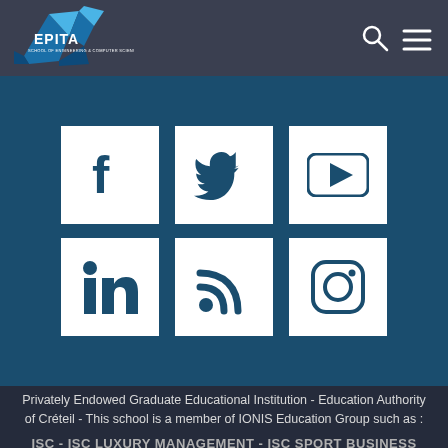[Figure (logo): EPITA School of Engineering logo - blue geometric shape with EPITA text]
[Figure (infographic): Social media icons section on dark teal background: Facebook, Twitter, YouTube (top row); LinkedIn, RSS, Instagram (bottom row) - white square icons]
Privately Endowed Graduate Educational Institution - Education Authority of Créteil - This school is a member of IONIS Education Group such as :
ISC - ISC LUXURY MANAGEMENT - ISC SPORT BUSINESS